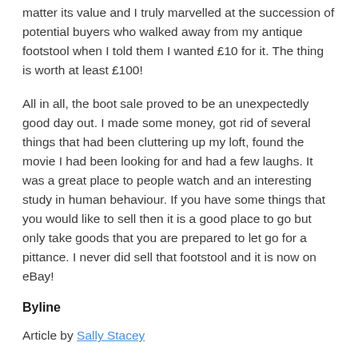matter its value and I truly marvelled at the succession of potential buyers who walked away from my antique footstool when I told them I wanted £10 for it. The thing is worth at least £100!
All in all, the boot sale proved to be an unexpectedly good day out. I made some money, got rid of several things that had been cluttering up my loft, found the movie I had been looking for and had a few laughs. It was a great place to people watch and an interesting study in human behaviour. If you have some things that you would like to sell then it is a good place to go but only take goods that you are prepared to let go for a pittance. I never did sell that footstool and it is now on eBay!
Byline
Article by Sally Stacey